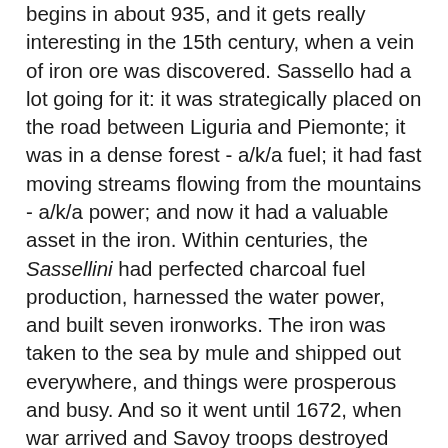begins in about 935, and it gets really interesting in the 15th century, when a vein of iron ore was discovered. Sassello had a lot going for it: it was strategically placed on the road between Liguria and Piemonte; it was in a dense forest - a/k/a fuel; it had fast moving streams flowing from the mountains - a/k/a power; and now it had a valuable asset in the iron. Within centuries, the Sassellini had perfected charcoal fuel production, harnessed the water power, and built seven ironworks. The iron was taken to the sea by mule and shipped out everywhere, and things were prosperous and busy. And so it went until 1672, when war arrived and Savoy troops destroyed the town, and then, in 1722, there was an exceptional drought, bringing production to a grinding halt. Meanwhile, out in the world, coal was taking over as a heat source, leaving charcoal in its dust, and new metallurgical technologies had outstripped the old ironworks. By 1815, work ceased. Many former workers emigrated, often to South America, and Sassello's heyday was over.
But changing times mean changing tastes. The word "sassello" means redwing in Italian, and today birdwatching and hiking are some of the favorite tourist occupations. The